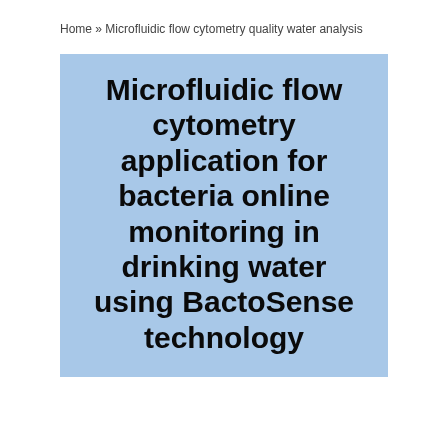Home » Microfluidic flow cytometry quality water analysis
Microfluidic flow cytometry application for bacteria online monitoring in drinking water using BactoSense technology